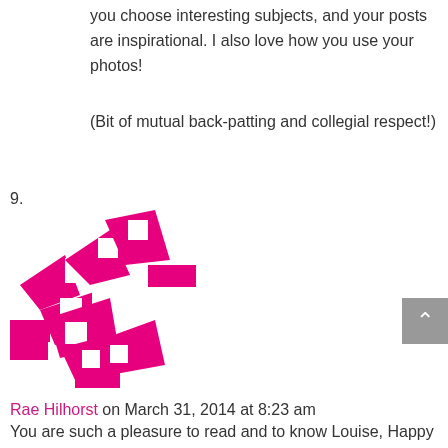you choose interesting subjects, and your posts are inspirational. I also love how you use your photos!
(Bit of mutual back-patting and collegial respect!)
9.
[Figure (logo): Pink geometric/angular logo icon for Rae Hilhorst]
Rae Hilhorst on March 31, 2014 at 8:23 am
You are such a pleasure to read and to know Louise, Happy 1st Birthday xxx
10.
[Figure (photo): Photo of a woman with glasses and shoulder-length blonde hair, smiling, wearing a dark patterned top]